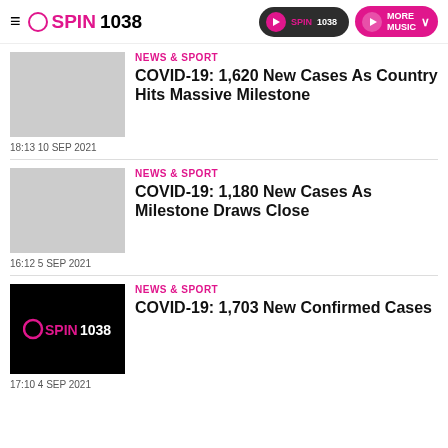SPIN1038 — NEWS & SPORT navigation header
NEWS & SPORT
COVID-19: 1,620 New Cases As Country Hits Massive Milestone
18:13 10 SEP 2021
NEWS & SPORT
COVID-19: 1,180 New Cases As Milestone Draws Close
16:12 5 SEP 2021
[Figure (logo): SPIN1038 logo on black background]
NEWS & SPORT
COVID-19: 1,703 New Confirmed Cases
17:10 4 SEP 2021